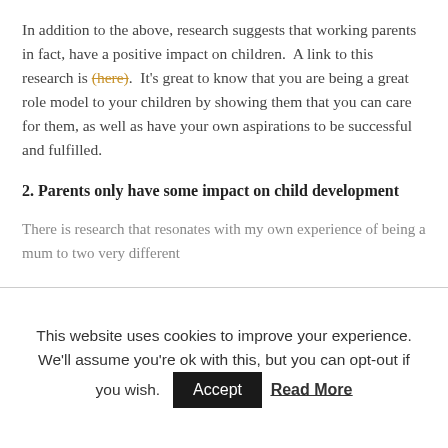In addition to the above, research suggests that working parents in fact, have a positive impact on children.  A link to this research is (here).  It's great to know that you are being a great role model to your children by showing them that you can care for them, as well as have your own aspirations to be successful and fulfilled.
2. Parents only have some impact on child development
There is research that resonates with my own experience of being a mum to two very different
This website uses cookies to improve your experience. We'll assume you're ok with this, but you can opt-out if you wish. Accept Read More